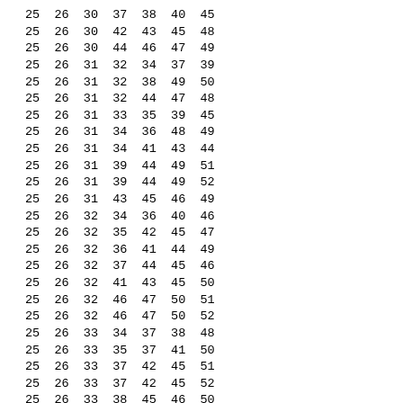| 25 | 26 | 30 | 37 | 38 | 40 | 45 |
| 25 | 26 | 30 | 42 | 43 | 45 | 48 |
| 25 | 26 | 30 | 44 | 46 | 47 | 49 |
| 25 | 26 | 31 | 32 | 34 | 37 | 39 |
| 25 | 26 | 31 | 32 | 38 | 49 | 50 |
| 25 | 26 | 31 | 32 | 44 | 47 | 48 |
| 25 | 26 | 31 | 33 | 35 | 39 | 45 |
| 25 | 26 | 31 | 34 | 36 | 48 | 49 |
| 25 | 26 | 31 | 34 | 41 | 43 | 44 |
| 25 | 26 | 31 | 39 | 44 | 49 | 51 |
| 25 | 26 | 31 | 39 | 44 | 49 | 52 |
| 25 | 26 | 31 | 43 | 45 | 46 | 49 |
| 25 | 26 | 32 | 34 | 36 | 40 | 46 |
| 25 | 26 | 32 | 35 | 42 | 45 | 47 |
| 25 | 26 | 32 | 36 | 41 | 44 | 49 |
| 25 | 26 | 32 | 37 | 44 | 45 | 46 |
| 25 | 26 | 32 | 41 | 43 | 45 | 50 |
| 25 | 26 | 32 | 46 | 47 | 50 | 51 |
| 25 | 26 | 32 | 46 | 47 | 50 | 52 |
| 25 | 26 | 33 | 34 | 37 | 38 | 48 |
| 25 | 26 | 33 | 35 | 37 | 41 | 50 |
| 25 | 26 | 33 | 37 | 42 | 45 | 51 |
| 25 | 26 | 33 | 37 | 42 | 45 | 52 |
| 25 | 26 | 33 | 38 | 45 | 46 | 50 |
| 25 | 26 | 33 | 39 | 47 | 49 | 50 |
| 25 | 26 | 33 | 40 | 41 | 42 | 48 |
| 25 | 26 | 33 | 42 | 43 | 46 | 47 |
| 25 | 26 | 34 | 35 | 36 | 44 | 47 |
| 25 | 26 | 34 | 37 | 41 | 46 | 47 |
| 25 | 26 | 34 | 38 | 40 | 41 | 50 |